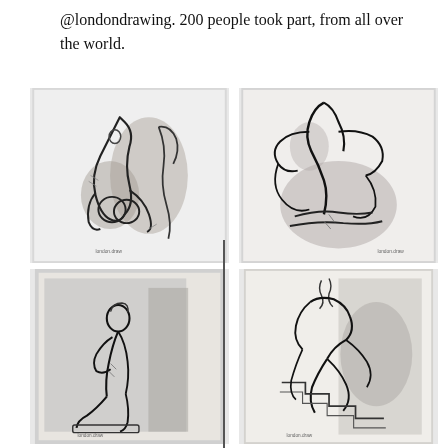@londondrawing. 200 people took part, from all over the world.
[Figure (illustration): Pencil/charcoal sketch of two nude figures seated, one viewed from behind with rounded forms, gestural lines on light grey background]
[Figure (illustration): Pencil/charcoal sketch of a nude figure from behind with arms raised, angular gestural lines on light grey background]
[Figure (illustration): Pencil/charcoal sketch of a seated nude figure, contemplative pose with hand near chin, on grey-toned background]
[Figure (illustration): Pencil/charcoal sketch of a reclining/dynamic nude figure with angular lines on grey background]